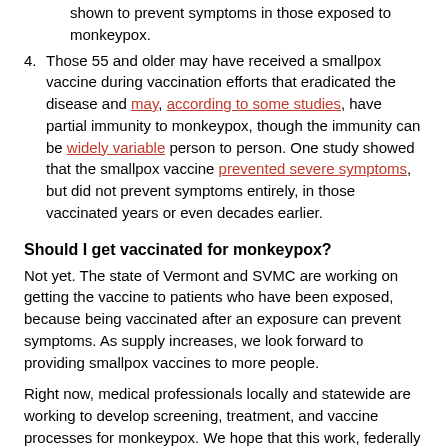(continuation) smallpox are not the same, the smallpox vaccine has been shown to prevent symptoms in those exposed to monkeypox.
4. Those 55 and older may have received a smallpox vaccine during vaccination efforts that eradicated the disease and may, according to some studies, have partial immunity to monkeypox, though the immunity can be widely variable person to person. One study showed that the smallpox vaccine prevented severe symptoms, but did not prevent symptoms entirely, in those vaccinated years or even decades earlier.
Should I get vaccinated for monkeypox?
Not yet. The state of Vermont and SVMC are working on getting the vaccine to patients who have been exposed, because being vaccinated after an exposure can prevent symptoms. As supply increases, we look forward to providing smallpox vaccines to more people.
Right now, medical professionals locally and statewide are working to develop screening, treatment, and vaccine processes for monkeypox. We hope that this work, federally and locally, can prevent...